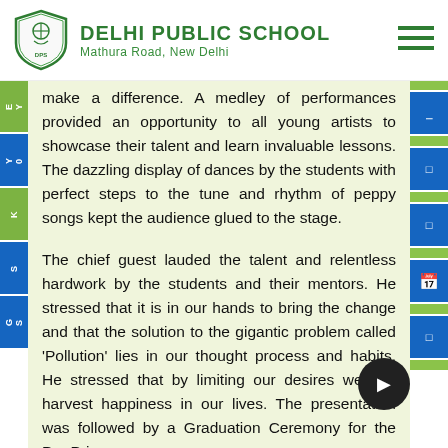DELHI PUBLIC SCHOOL — Mathura Road, New Delhi
make a difference. A medley of performances provided an opportunity to all young artists to showcase their talent and learn invaluable lessons. The dazzling display of dances by the students with perfect steps to the tune and rhythm of peppy songs kept the audience glued to the stage.
The chief guest lauded the talent and relentless hardwork by the students and their mentors. He stressed that it is in our hands to bring the change and that the solution to the gigantic problem called 'Pollution' lies in our thought process and habits. He stressed that by limiting our desires we can harvest happiness in our lives. The presentation was followed by a Graduation Ceremony for the Pro Primary